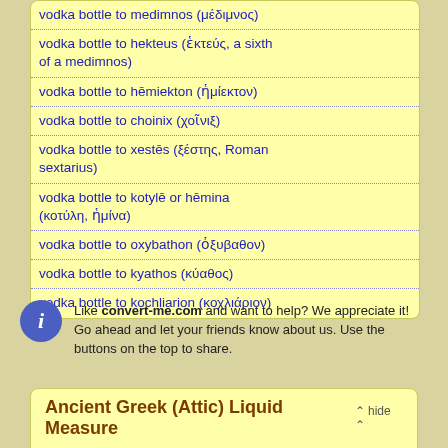vodka bottle to medimnos (μέδιμνος)
vodka bottle to hekteus (ἑκτεύς, a sixth of a medimnos)
vodka bottle to hēmiekton (ἡμίεκτον)
vodka bottle to choinix (χοῖνιξ)
vodka bottle to xestēs (ξέστης, Roman sextarius)
vodka bottle to kotylē or hēmina (κοτύλη, ἡμίνα)
vodka bottle to oxybathon (ὀξυβαθον)
vodka bottle to kyathos (κύαθος)
vodka bottle to kochliarion (κοχλιάριον)
Like convert-me.com and want to help? We appreciate it! Go ahead and let your friends know about us. Use the buttons on the top to share.
Ancient Greek (Attic) Liquid Measure
A common unit in both liquid and dry capacity throughout historic Greece